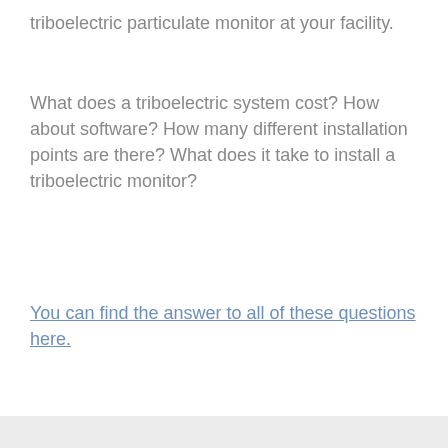triboelectric particulate monitor at your facility.
What does a triboelectric system cost? How about software? How many different installation points are there? What does it take to install a triboelectric monitor?
You can find the answer to all of these questions here.